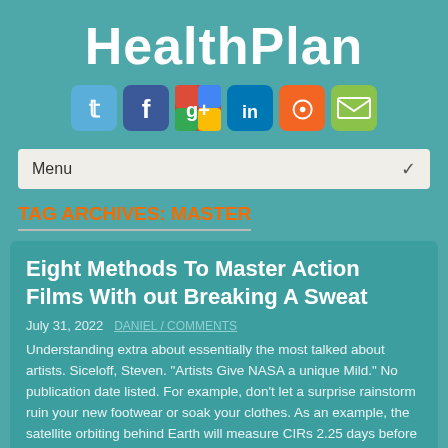HealthPlan
[Figure (infographic): Social media icons row: Twitter (blue), Facebook (dark blue), Google+ (red/multicolor), LinkedIn (blue), RSS (orange), Email (green)]
Menu
TAG ARCHIVES: MASTER
Eight Methods To Master Action Films Without Breaking A Sweat
July 31, 2022
Understanding extra about essentially the most talked about artists. Siceloff, Steven. “Artists Give NASA a unique Mild.” No publication date listed. For example, don’t let a surprise rainstorm ruin your new footwear or soak your clothes. As an example, the satellite orbiting behind Earth will measure CIRs 2.25 days before they hit Earth.